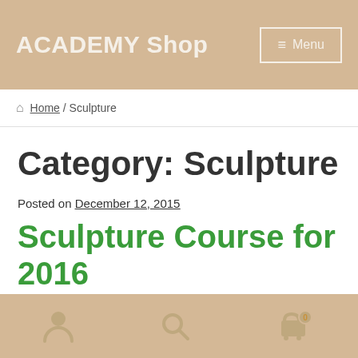ACADEMY Shop   ≡ Menu
🏠 Home / Sculpture
Category: Sculpture
Posted on December 12, 2015
Sculpture Course for 2016
[user icon] [search icon] [cart icon]